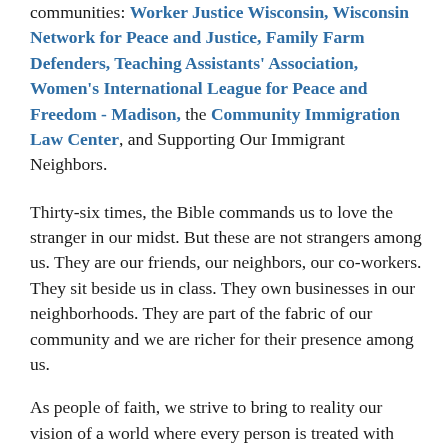communities: Worker Justice Wisconsin, Wisconsin Network for Peace and Justice, Family Farm Defenders, Teaching Assistants' Association, Women's International League for Peace and Freedom - Madison, the Community Immigration Law Center, and Supporting Our Immigrant Neighbors.
Thirty-six times, the Bible commands us to love the stranger in our midst. But these are not strangers among us. They are our friends, our neighbors, our co-workers. They sit beside us in class. They own businesses in our neighborhoods. They are part of the fabric of our community and we are richer for their presence among us.
As people of faith, we strive to bring to reality our vision of a world where every person is treated with dignity and respect, where their contributions to our society are valued, and where all can live together in freedom and safety. This vision impels us to stand together in unity with our immigrant and refugee friends and neighbors